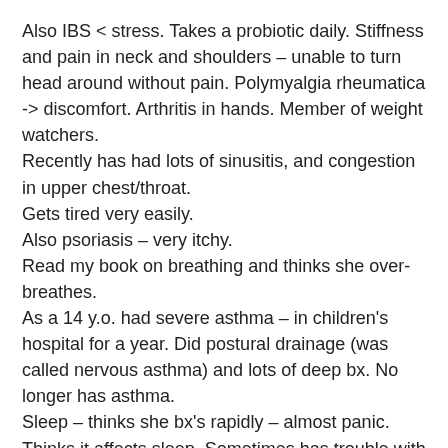Also IBS < stress. Takes a probiotic daily. Stiffness and pain in neck and shoulders – unable to turn head around without pain. Polymyalgia rheumatica -> discomfort. Arthritis in hands. Member of weight watchers.
Recently has had lots of sinusitis, and congestion in upper chest/throat.
Gets tired very easily.
Also psoriasis – very itchy.
Read my book on breathing and thinks she over-breathes.
As a 14 y.o. had severe asthma – in children's hospital for a year. Did postural drainage (was called nervous asthma) and lots of deep bx. No longer has asthma.
Sleep – thinks she bx's rapidly – almost panic. Thinks it affects sleep. Sometimes has trouble with sleep. Wakes with a dry mouth. Definitely snores. Sleeps on side. Dry mouth in am and